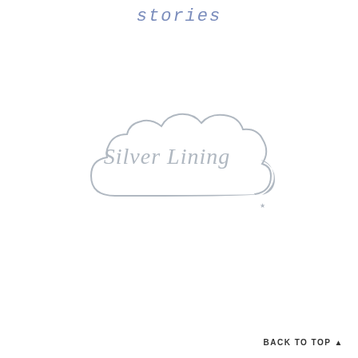stories
[Figure (logo): Silver Lining logo: a cloud outline in light grey with the cursive text 'Silver Lining' inside, and a crescent moon with a small star to the right side of the cloud]
BACK TO TOP ▲